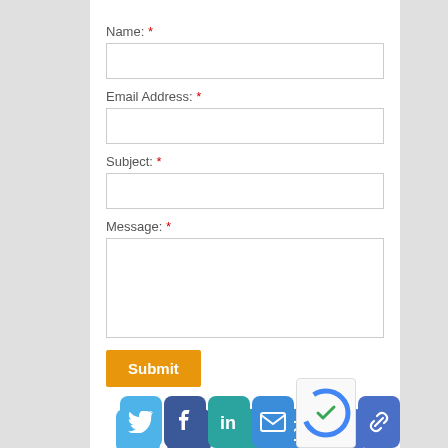Name: *
[Figure (screenshot): Empty text input field for Name]
Email Address: *
[Figure (screenshot): Empty text input field for Email Address]
Subject: *
[Figure (screenshot): Empty text input field for Subject]
Message: *
[Figure (screenshot): Empty textarea field for Message]
[Figure (screenshot): Submit button (orange)]
[Figure (screenshot): Social share icons row: Twitter, Facebook, LinkedIn, Email, Link]
[Figure (screenshot): Bottom social share icons row: Twitter, Facebook, LinkedIn, Email, Link; and reCAPTCHA widget]